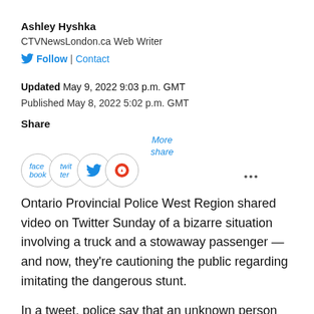Ashley Hyshka
CTVNewsLondon.ca Web Writer
Follow | Contact
Updated May 9, 2022 9:03 p.m. GMT
Published May 8, 2022 5:02 p.m. GMT
Share
[Figure (infographic): Social share buttons: facebook, twitter, reddit, and more share options with circular icons and overlay text]
Ontario Provincial Police West Region shared video on Twitter Sunday of a bizarre situation involving a truck and a stowaway passenger — and now, they're cautioning the public regarding imitating the dangerous stunt.
In a tweet, police say that an unknown person